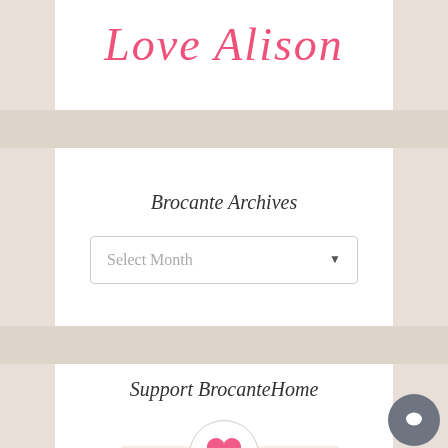[Figure (logo): Cursive pink script logo reading 'Love Alison']
Brocante Archives
Select Month
Support BrocanteHome
[Figure (illustration): Pink heart inside a circular bordered button]